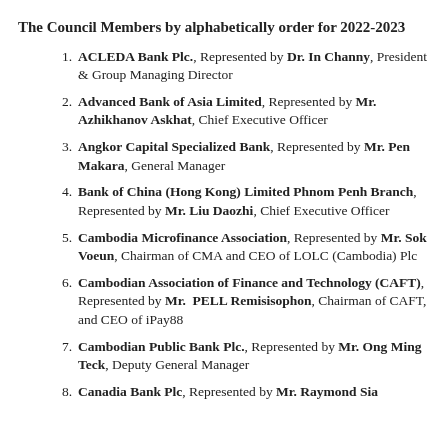The Council Members by alphabetically order for 2022-2023
ACLEDA Bank Plc., Represented by Dr. In Channy, President & Group Managing Director
Advanced Bank of Asia Limited, Represented by Mr. Azhikhanov Askhat, Chief Executive Officer
Angkor Capital Specialized Bank, Represented by Mr. Pen Makara, General Manager
Bank of China (Hong Kong) Limited Phnom Penh Branch, Represented by Mr. Liu Daozhi, Chief Executive Officer
Cambodia Microfinance Association, Represented by Mr. Sok Voeun, Chairman of CMA and CEO of LOLC (Cambodia) Plc
Cambodian Association of Finance and Technology (CAFT), Represented by Mr. PELL Remisisophon, Chairman of CAFT, and CEO of iPay88
Cambodian Public Bank Plc., Represented by Mr. Ong Ming Teck, Deputy General Manager
Canadia Bank Plc, Represented by Mr. Raymond Sia